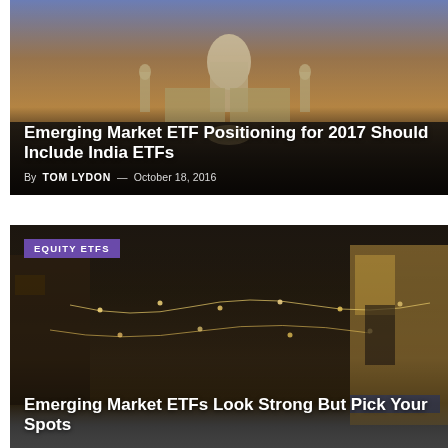[Figure (photo): Taj Mahal at sunset reflected in water, warm golden and purple tones]
Emerging Market ETF Positioning for 2017 Should Include India ETFs
By TOM LYDON — October 18, 2016
[Figure (photo): Dark night street scene with string lights, Asian urban alley]
EQUITY ETFS
Emerging Market ETFs Look Strong But Pick Your Spots